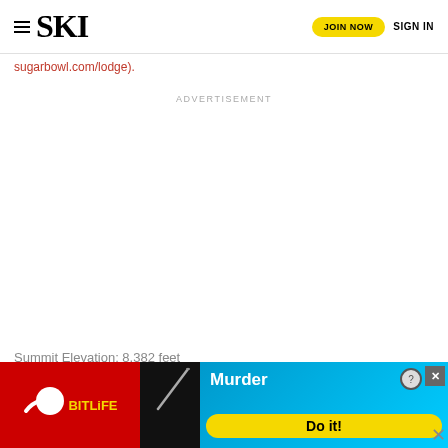SKI | JOIN NOW | SIGN IN
sugarbowl.com/lodge).
ADVERTISEMENT
Summit Elevation: 8,382 feet
Vertical
[Figure (screenshot): BitLife mobile game advertisement banner with murder theme, blue and red background with 'BitLife' logo, 'Murder Do it!' text]